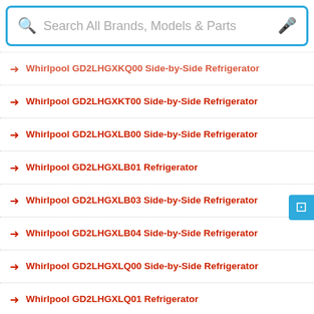[Figure (screenshot): Search bar with magnifying glass icon and microphone icon, placeholder text 'Search All Brands, Models & Parts', blue border]
Whirlpool GD2LHGXKQ00 Side-by-Side Refrigerator
Whirlpool GD2LHGXKT00 Side-by-Side Refrigerator
Whirlpool GD2LHGXLB00 Side-by-Side Refrigerator
Whirlpool GD2LHGXLB01 Refrigerator
Whirlpool GD2LHGXLB03 Side-by-Side Refrigerator
Whirlpool GD2LHGXLB04 Side-by-Side Refrigerator
Whirlpool GD2LHGXLQ00 Side-by-Side Refrigerator
Whirlpool GD2LHGXLQ01 Refrigerator
Whirlpool GD2LHGXLQ03 Side-by-Side Refrigerator
Whirlpool GD2LHGXLQ04 Side-by-Side Refrigerator
Whirlpool GD2LHGXLT00 Side-by-Side Refrigerator
Whirlpool GD2LHGXLT01 Refrigerator
Whirlpool GD2LHGXLT03 Side-by-Side Refrigerator